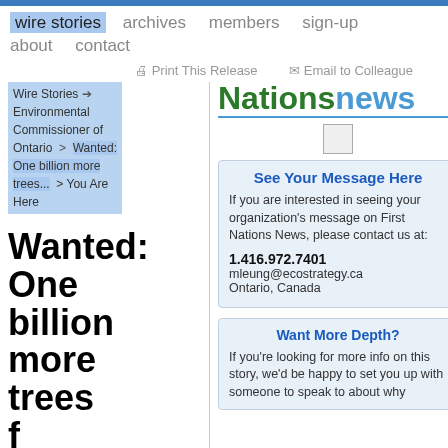wire stories  archives  members  sign-up  about  contact
Print This Release   Email to Colleague
Wire Stories > Environmental Commissioner of Ontario > Wanted: One billion more trees... > You Are Here
[Figure (logo): Nationsnews logo in green and blue]
See Your Message Here
If you are interested in seeing your organization's message on First Nations News, please contact us at:
1.416.972.7401
mleung@ecostrategy.ca
Ontario, Canada
Want More Depth?
If you're looking for more info on this story, we'd be happy to set you up with someone to speak to about why
Wanted: One billion more trees